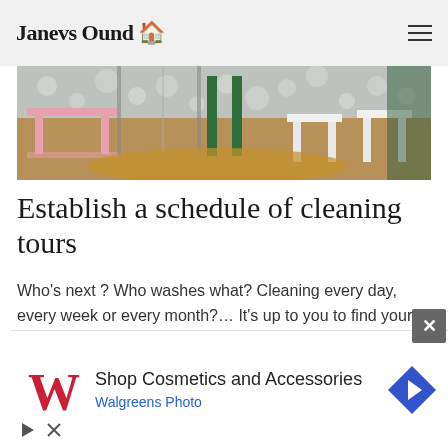Janevs Ound 🏠
[Figure (photo): Interior photo showing furniture including a pink table and white chairs/stools on a brown rug against a patterned wall]
Establish a schedule of cleaning tours
Who's next ? Who washes what? Cleaning every day, every week or every month?... It's up to you to find your rhythm, the main thing being to set a program to facilitate the organization of the household and above all to prevent
[Figure (screenshot): Advertisement banner for Walgreens Photo: Shop Cosmetics and Accessories with Walgreens logo and navigation arrow icon]